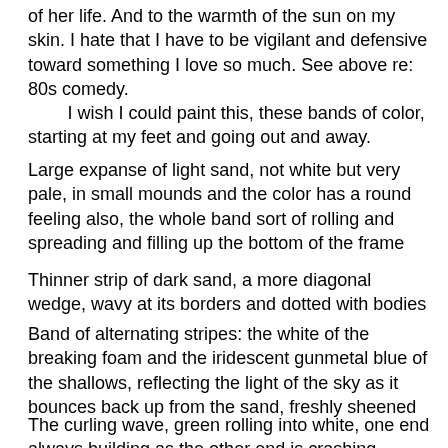of her life. And to the warmth of the sun on my skin. I hate that I have to be vigilant and defensive toward something I love so much. See above re: 80s comedy.
	I wish I could paint this, these bands of color, starting at my feet and going out and away.
Large expanse of light sand, not white but very pale, in small mounds and the color has a round feeling also, the whole band sort of rolling and spreading and filling up the bottom of the frame
Thinner strip of dark sand, a more diagonal wedge, wavy at its borders and dotted with bodies
Band of alternating stripes: the white of the breaking foam and the iridescent gunmetal blue of the shallows, reflecting the light of the sky as it bounces back up from the sand, freshly sheened
The curling wave, green rolling into white, one end always building as the other end is crashing